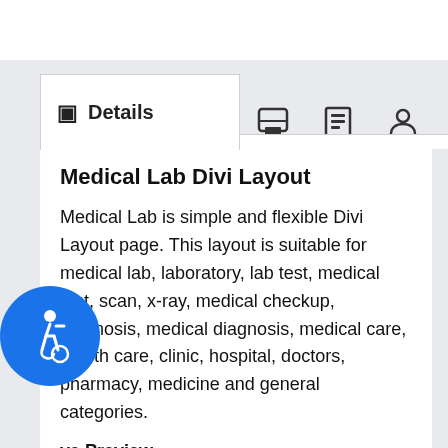Details
Medical Lab Divi Layout
Medical Lab is simple and flexible Divi Layout page. This layout is suitable for medical lab, laboratory, lab test, medical test, scan, x-ray, medical checkup, diagnosis, medical diagnosis, medical care, health care, clinic, hospital, doctors, pharmacy, medicine and general categories.
Live Preview – http://divi.pennyblacktemplates.com/medlab/
Features: